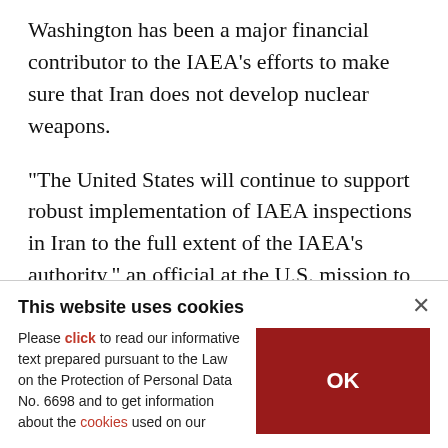Washington has been a major financial contributor to the IAEA's efforts to make sure that Iran does not develop nuclear weapons.
"The United States will continue to support robust implementation of IAEA inspections in Iran to the full extent of the IAEA's authority," an official at the U.S. mission to the IAEA in Vienna told dpa.
The IAEA is present in Iran around the clock. Its specialists in Vienna search millions of pieces of
This website uses cookies
Please click to read our informative text prepared pursuant to the Law on the Protection of Personal Data No. 6698 and to get information about the cookies used on our